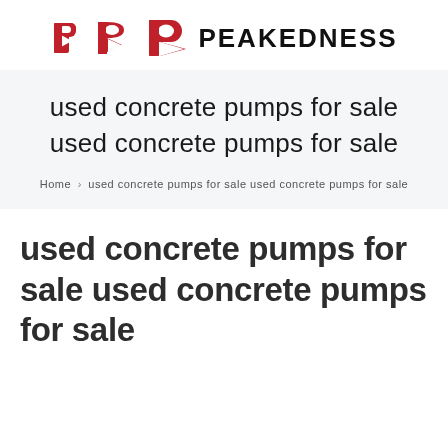[Figure (logo): Peakedness logo: red P-arrow icon followed by bold black text PEAKEDNESS]
used concrete pumps for sale used concrete pumps for sale
Home > used concrete pumps for sale used concrete pumps for sale
used concrete pumps for sale used concrete pumps for sale